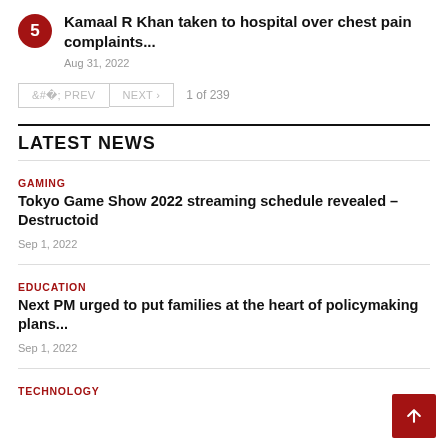5 Kamaal R Khan taken to hospital over chest pain complaints... Aug 31, 2022
< PREV  NEXT >  1 of 239
LATEST NEWS
GAMING
Tokyo Game Show 2022 streaming schedule revealed – Destructoid
Sep 1, 2022
EDUCATION
Next PM urged to put families at the heart of policymaking plans...
Sep 1, 2022
TECHNOLOGY